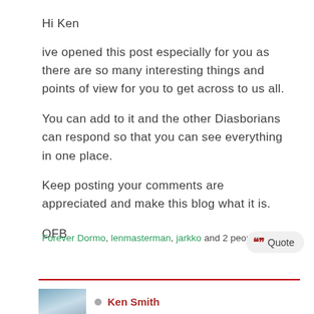Hi Ken
ive opened this post especially for you as there are so many interesting things and points of view for you to get across to us all.
You can add to it and the other Diasborians can respond so that you can see everything in one place.
Keep posting your comments are appreciated and make this blog what it is.
OFB
Forever Dormo, lenmasterman, jarkko and 2 people reacted
Ken Smith